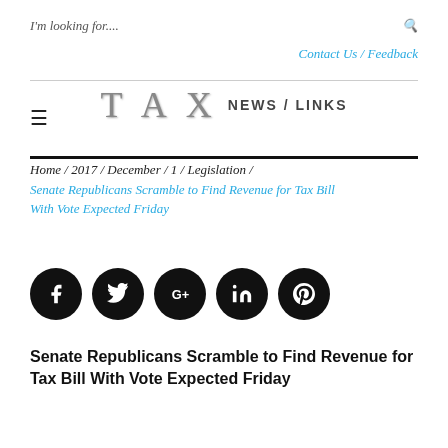I'm looking for....
Contact Us / Feedback
[Figure (logo): TAX NEWS / LINKS logo with large stylized TAX lettering followed by NEWS / LINKS text]
Home / 2017 / December / 1 / Legislation / Senate Republicans Scramble to Find Revenue for Tax Bill With Vote Expected Friday
[Figure (infographic): Five black circular social sharing buttons: Facebook (f), Twitter (bird), Google+ (G+), LinkedIn (in), Pinterest (P)]
Senate Republicans Scramble to Find Revenue for Tax Bill With Vote Expected Friday